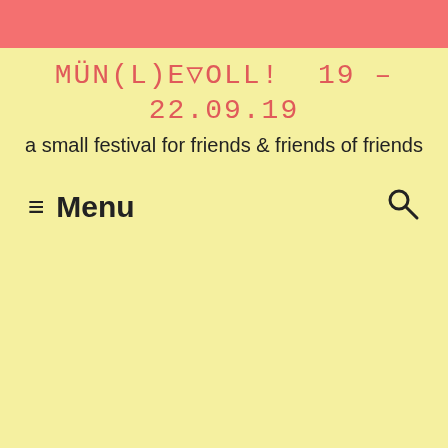MÜN(L)EVOLL! 19 – 22.09.19
a small festival for friends & friends of friends
≡ Menu  🔍